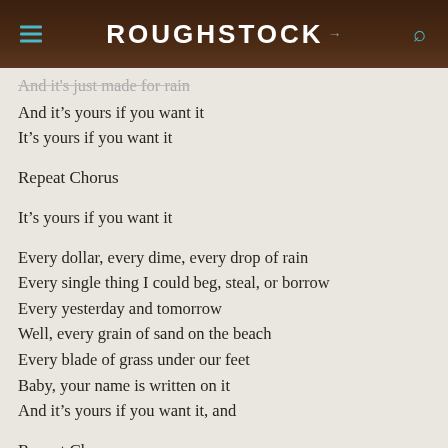ROUGHSTOCK
And it's just made for rain
And it's yours if you want it
It's yours if you want it
Repeat Chorus
It's yours if you want it
Every dollar, every dime, every drop of rain
Every single thing I could beg, steal, or borrow
Every yesterday and tomorrow
Well, every grain of sand on the beach
Every blade of grass under our feet
Baby, your name is written on it
And it's yours if you want it, and
Repeat Chorus